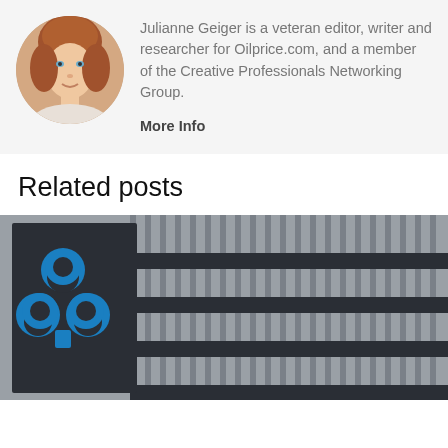[Figure (photo): Circular profile photo of Julianne Geiger, a woman with reddish hair]
Julianne Geiger is a veteran editor, writer and researcher for Oilprice.com, and a member of the Creative Professionals Networking Group.
More Info
Related posts
[Figure (photo): Photo of an OPEC building sign with blue OPEC logo on dark background, with metallic vertical slats/blinds in background]